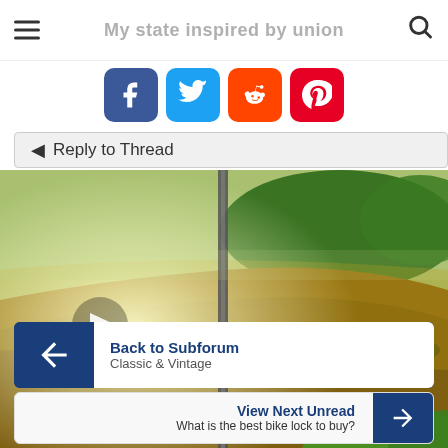My state inspired by union
[Figure (infographic): Social media share buttons: Facebook (blue), Twitter (light blue), Reddit (orange), Pinterest (red)]
Reply to Thread
[Figure (photo): Aerial view of a road or bridge running over a wide brown river, surrounded by green trees, with a play button overlay indicating a video]
Back to Subforum
Classic & Vintage
View Next Unread
What is the best bike lock to buy?